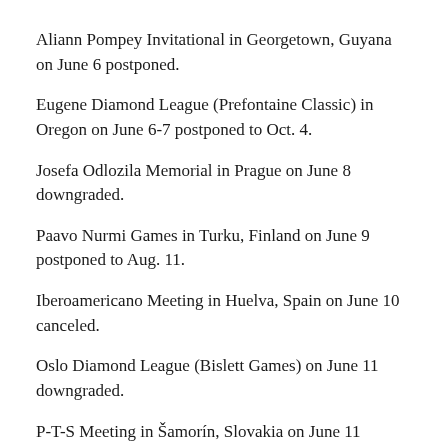Aliann Pompey Invitational in Georgetown, Guyana on June 6 postponed.
Eugene Diamond League (Prefontaine Classic) in Oregon on June 6-7 postponed to Oct. 4.
Josefa Odlozila Memorial in Prague on June 8 downgraded.
Paavo Nurmi Games in Turku, Finland on June 9 postponed to Aug. 11.
Iberoamericano Meeting in Huelva, Spain on June 10 canceled.
Oslo Diamond League (Bislett Games) on June 11 downgraded.
P-T-S Meeting in Šamorín, Slovakia on June 11 postponed.